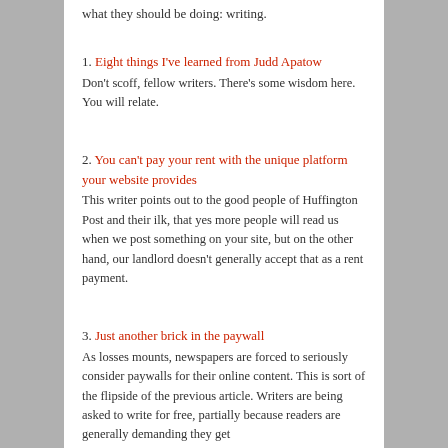what they should be doing: writing.
1. Eight things I've learned from Judd Apatow
Don't scoff, fellow writers. There's some wisdom here. You will relate.
2. You can't pay your rent with the unique platform your website provides
This writer points out to the good people of Huffington Post and their ilk, that yes more people will read us when we post something on your site, but on the other hand, our landlord doesn't generally accept that as a rent payment.
3. Just another brick in the paywall
As losses mounts, newspapers are forced to seriously consider paywalls for their online content. This is sort of the flipside of the previous article. Writers are being asked to write for free, partially because readers are generally demanding they get